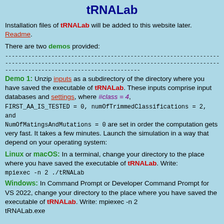tRNALab
Installation files of tRNALab will be added to this website later. Readme.
There are two demos provided:
------------------------------------------------------------------------------------------------------------------------------------------------------------------------------------------------------
Demo 1: Unzip inputs as a subdirectory of the directory where you have saved the executable of tRNALab. These inputs comprise input databases and settings, where #class = 4, FIRST_AA_IS_TESTED = 0, numOfTrimmedClassifications = 2, and NumOfMatingsAndMutations = 0 are set in order the computation gets very fast. It takes a few minutes. Launch the simulation in a way that depend on your operating system:
Linux or macOS: In a terminal, change your directory to the place where you have saved the executable of tRNALab. Write: mpiexec -n 2 ./tRNALab
Windows: In Command Prompt or Developer Command Prompt for VS 2022, change your directory to the place where you have saved the executable of tRNALab. Write: mpiexec -n 2 tRNALab.exe